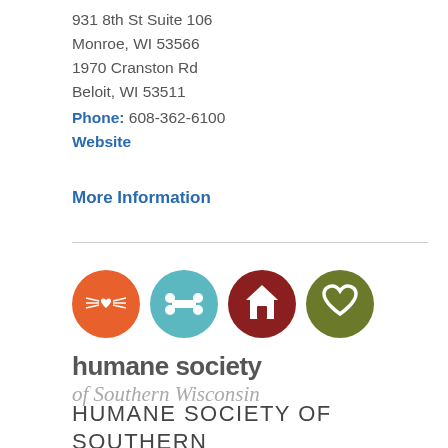931 8th St Suite 106
Monroe, WI 53566
1970 Cranston Rd
Beloit, WI 53511
Phone: 608-362-6100
Website
More Information
[Figure (logo): Humane Society of Southern Wisconsin logo with four colored circles (orange cat face, teal bone, dark red house, olive green heart) above the text 'humane society of Southern Wisconsin']
HUMANE SOCIETY OF SOUTHERN WISCONSIN